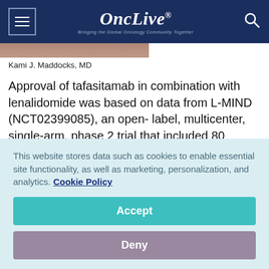OncLive® — Bringing the Global Oncology Community Together
[Figure (photo): Partial photo of a person wearing a green top, cropped at the top of the image strip]
Kami J. Maddocks, MD
Approval of tafasitamab in combination with lenalidomide was based on data from L-MIND (NCT02399085), an open- label, multicenter, single-arm, phase 2 trial that included 80 patients who received at least 1 dose of both tafasitamab and
This website stores data such as cookies to enable essential site functionality, as well as marketing, personalization, and analytics. Cookie Policy
Accept
Deny